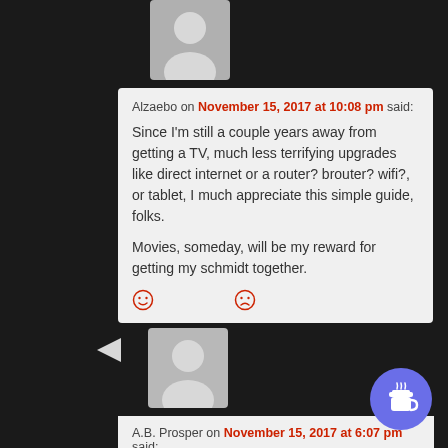[Figure (illustration): Gray default user avatar silhouette, first comment]
Alzaebo on November 15, 2017 at 10:08 pm said:
Since I'm still a couple years away from getting a TV, much less terrifying upgrades like direct internet or a router? brouter? wifi?, or tablet, I much appreciate this simple guide, folks.

Movies, someday, will be my reward for getting my schmidt together.
[Figure (illustration): Smiley face reaction icon and sad face reaction icon]
[Figure (illustration): Gray default user avatar silhouette, second comment]
A.B. Prosper on November 15, 2017 at 6:07 pm said:
I wouldn't really call swicthing to streaming as cord